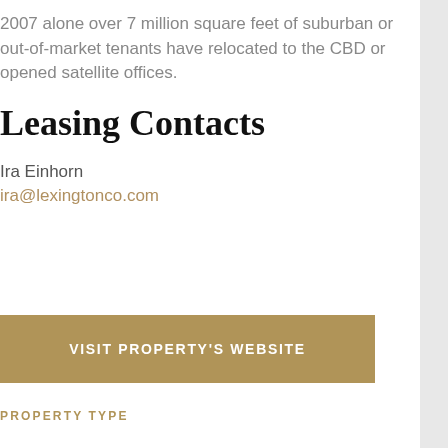2007 alone over 7 million square feet of suburban or out-of-market tenants have relocated to the CBD or opened satellite offices.
Leasing Contacts
Ira Einhorn
ira@lexingtonco.com
VISIT PROPERTY'S WEBSITE
PROPERTY TYPE